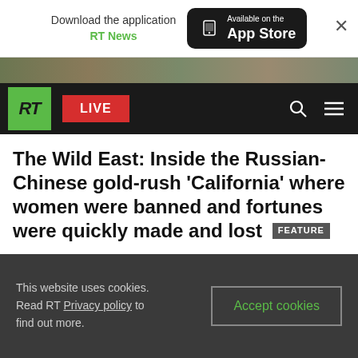[Figure (screenshot): App store download banner with RT News branding and Available on the App Store button]
[Figure (photo): Partial photo strip visible at top of page]
[Figure (screenshot): RT website navigation bar with logo, LIVE button, search and menu icons]
The Wild East: Inside the Russian-Chinese gold-rush 'California' where women were banned and fortunes were quickly made and lost  FEATURE
The siege of Leningrad – deadliest blockade of WWII
This website uses cookies. Read RT Privacy policy to find out more.